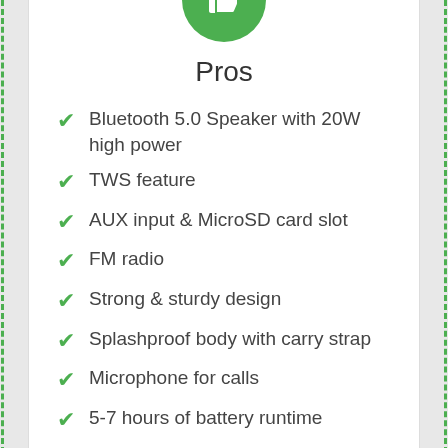[Figure (illustration): Green circle with white thumbs-up icon]
Pros
Bluetooth 5.0 Speaker with 20W high power
TWS feature
AUX input & MicroSD card slot
FM radio
Strong & sturdy design
Splashproof body with carry strap
Microphone for calls
5-7 hours of battery runtime